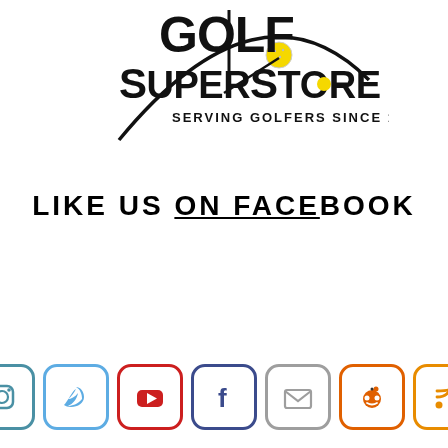[Figure (logo): Golf SuperStore logo with tagline 'Serving Golfers Since 1974' and a golf ball graphic with a swoosh]
LIKE US ON FACEBOOK
[Figure (infographic): Row of social media icon buttons: Instagram (teal), Twitter (light blue), YouTube (red), Facebook (dark blue), Email (gray), Reddit (orange), RSS (orange)]